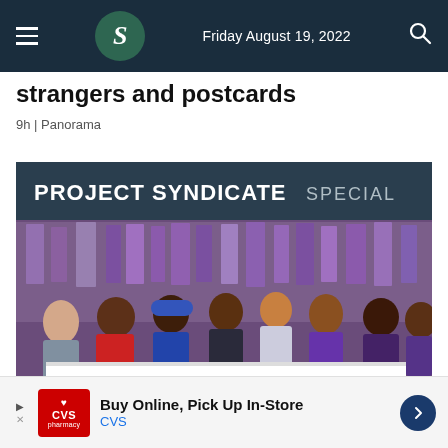Friday August 19, 2022
strangers and postcards
9h | Panorama
[Figure (photo): Project Syndicate Special banner over a protest photo showing a diverse crowd of people marching, holding a large white UNISON banner reading 'FROM THE FRONTLINE TO THE BREADLINE', with purple flags in the background.]
Buy Online, Pick Up In-Store CVS